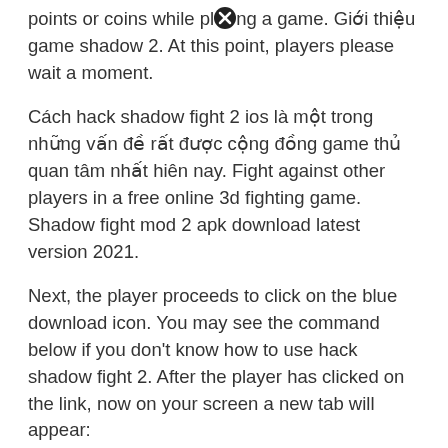points or coins while playing a game. Giới thiệu game shadow 2. At this point, players please wait a moment.
Cách hack shadow fight 2 ios là một trong những vấn đề rất được cộng đồng game thủ quan tâm nhất hiên nay. Fight against other players in a free online 3d fighting game. Shadow fight mod 2 apk download latest version 2021.
Next, the player proceeds to click on the blue download icon. You may see the command below if you don't know how to use hack shadow fight 2. After the player has clicked on the link, now on your screen a new tab will appear:
After that, there will be a folder that will download shadow fight 2 hack to the player's device. This truly is a shadow fight 2 online hack, which could produce unlimited number. Besides,